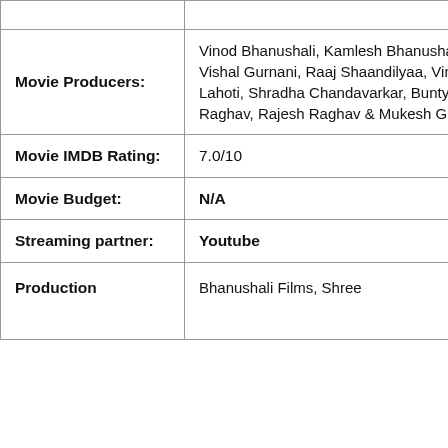| Field | Value |
| --- | --- |
|  |  |
| Movie Producers: | Vinod Bhanushali, Kamlesh Bhanushali, Vishal Gurnani, Raaj Shaandilyaa, Vimal Lahoti, Shradha Chandavarkar, Bunty Raghav, Rajesh Raghav & Mukesh Gupta |
| Movie IMDB Rating: | 7.0/10 |
| Movie Budget: | N/A |
| Streaming partner: | Youtube |
| Production | Bhanushali Films, Shree |